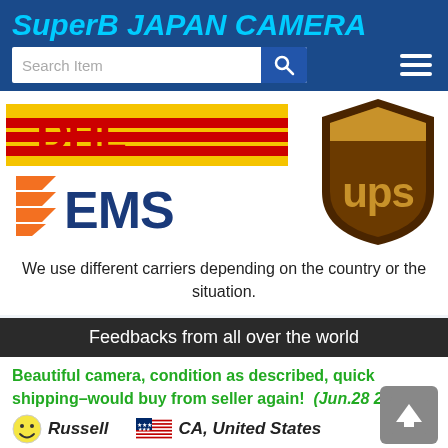SuperB JAPAN CAMERA
[Figure (screenshot): Website header with search bar and hamburger menu on blue background]
[Figure (logo): DHL, EMS, and UPS carrier logos displayed side by side]
We use different carriers depending on the country or the situation.
Feedbacks from all over the world
Beautiful camera, condition as described, quick shipping–would buy from seller again!  (Jun.28 2021)
Russell   CA, United States
Amazing! Japan to Florida in 2 days. The camera is exactly as described, perfect condition, and from my experience…